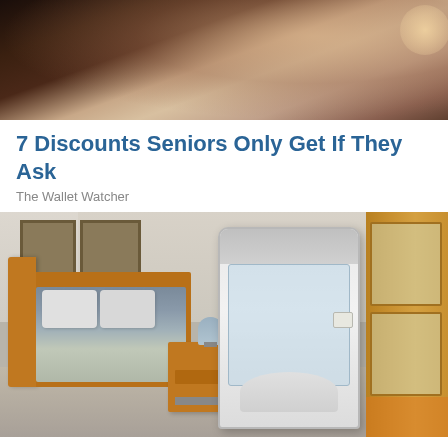[Figure (photo): Close-up photo of flowers or food with dark background and warm tones]
7 Discounts Seniors Only Get If They Ask
The Wallet Watcher
[Figure (photo): Bedroom scene with wooden bed, nightstand, and a white shaftless stair lift device installed in the room]
New Shaftless Stair Lifts Takes Only Hours To